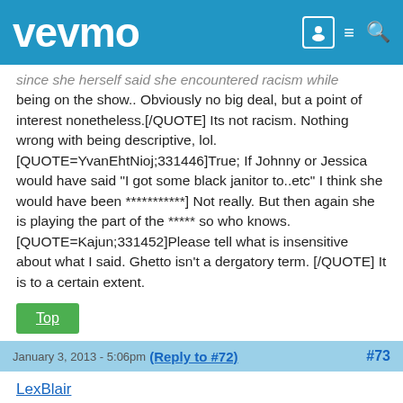vevmo
since she herself said she encountered racism while being on the show.. Obviously no big deal, but a point of interest nonetheless.[/QUOTE] Its not racism. Nothing wrong with being descriptive, lol. [QUOTE=YvanEhtNioj;331446]True; If Johnny or Jessica would have said "I got some black janitor to..etc" I think she would have been ***********] Not really. But then again she is playing the part of the ***** so who knows. [QUOTE=Kajun;331452]Please tell what is insensitive about what I said. Ghetto isn't a dergatory term. [/QUOTE] It is to a certain extent.
Top
January 3, 2013 - 5:06pm (Reply to #72) #73
LexBlair